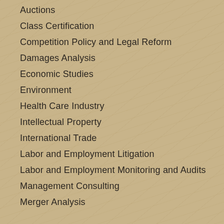Auctions
Class Certification
Competition Policy and Legal Reform
Damages Analysis
Economic Studies
Environment
Health Care Industry
Intellectual Property
International Trade
Labor and Employment Litigation
Labor and Employment Monitoring and Audits
Management Consulting
Merger Analysis